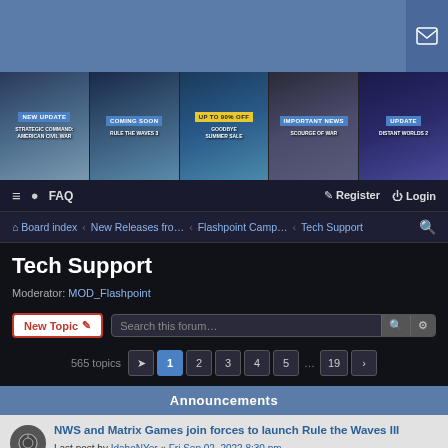[Figure (screenshot): Top blue header bar with partial mail icon on right]
[Figure (screenshot): Game banner strip showing: NEW UPDATE Strategic Command: American Civil War, COMING SOON Rule the Waves 3, UP TO 90% OFF Goodbye Summer Sale, IMPORTANT NEWS Scourge of War, UPDATE Distant Worlds 2]
FAQ | Register | Login
Board index · New Releases fro... · Flashpoint Camp... · Tech Support
Tech Support
Moderator: MOD_Flashpoint
New Topic | Search this forum…
565 topics  1 2 3 4 5 … 19 ›
Announcements
NWS and Matrix Games join forces to launch Rule the Waves III
Last post by IdahoNYer « Fri Sep 02, 2022 8:30 pm
Posted in Press Releases, News and Events from Matrix
Replies: 11
Command: Showcase Queen Elizabeth Out Now
Last post by nats « Mon Aug 29, 2022 7:22 pm